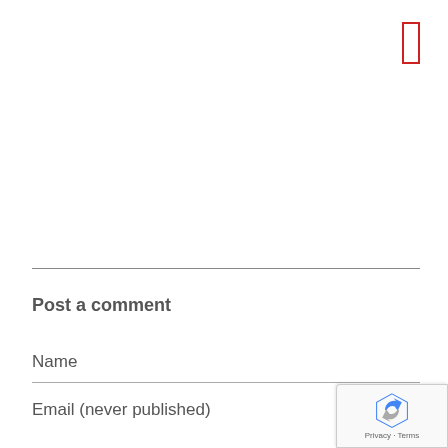[Figure (other): Red outlined rectangle box in the upper right corner]
Post a comment
Name
Email (never published)
[Figure (other): Google reCAPTCHA badge in the bottom right corner showing the reCAPTCHA logo and Privacy - Terms text]